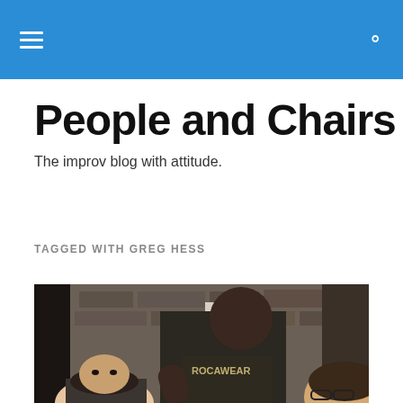People and Chairs — navigation header with hamburger menu and search icon
People and Chairs
The improv blog with attitude.
TAGGED WITH GREG HESS
[Figure (photo): Three people in a dimly lit room with stone walls. A tall Black man wearing a dark Rocawear t-shirt leans over. A woman with dark hair is on the left, and a man with glasses is on the right.]